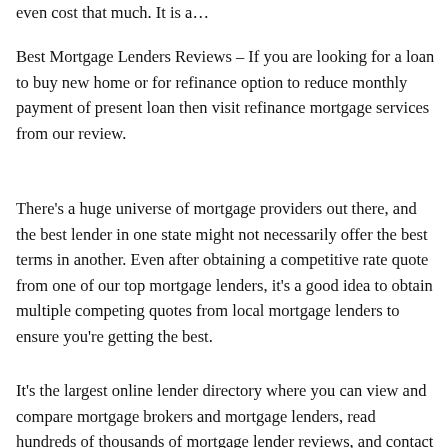even cost that much. It is a…
Best Mortgage Lenders Reviews – If you are looking for a loan to buy new home or for refinance option to reduce monthly payment of present loan then visit refinance mortgage services from our review.
There's a huge universe of mortgage providers out there, and the best lender in one state might not necessarily offer the best terms in another. Even after obtaining a competitive rate quote from one of our top mortgage lenders, it's a good idea to obtain multiple competing quotes from local mortgage lenders to ensure you're getting the best.
It's the largest online lender directory where you can view and compare mortgage brokers and mortgage lenders, read hundreds of thousands of mortgage lender reviews, and contact lenders directly from their profile pages. Looking for a specific lender?